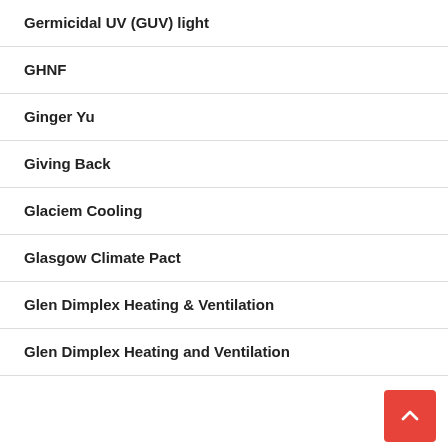Germicidal UV (GUV) light
GHNF
Ginger Yu
Giving Back
Glaciem Cooling
Glasgow Climate Pact
Glen Dimplex Heating & Ventilation
Glen Dimplex Heating and Ventilation